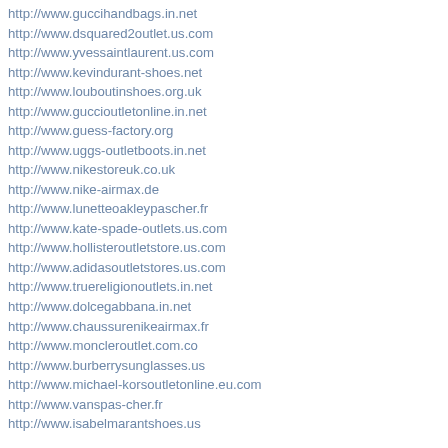http://www.guccihandbags.in.net
http://www.dsquared2outlet.us.com
http://www.yvessaintlaurent.us.com
http://www.kevindurant-shoes.net
http://www.louboutinshoes.org.uk
http://www.guccioutletonline.in.net
http://www.guess-factory.org
http://www.uggs-outletboots.in.net
http://www.nikestoreuk.co.uk
http://www.nike-airmax.de
http://www.lunetteoakleypascher.fr
http://www.kate-spade-outlets.us.com
http://www.hollisteroutletstore.us.com
http://www.adidasoutletstores.us.com
http://www.truereligionoutlets.in.net
http://www.dolcegabbana.in.net
http://www.chaussurenikeairmax.fr
http://www.moncleroutlet.com.co
http://www.burberrysunglasses.us
http://www.michael-korsoutletonline.eu.com
http://www.vanspas-cher.fr
http://www.isabelmarantshoes.us